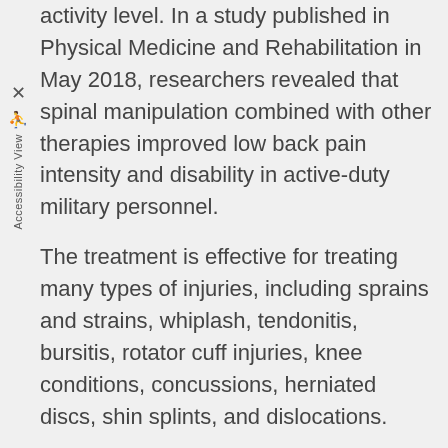activity level. In a study published in Physical Medicine and Rehabilitation in May 2018, researchers revealed that spinal manipulation combined with other therapies improved low back pain intensity and disability in active-duty military personnel.
The treatment is effective for treating many types of injuries, including sprains and strains, whiplash, tendonitis, bursitis, rotator cuff injuries, knee conditions, concussions, herniated discs, shin splints, and dislocations.
Chiropractic treatment will ease your pain and get you moving again. Contact us to schedule a convenient appointment.